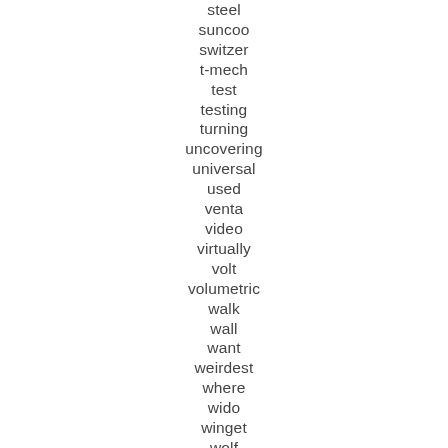steel
suncoo
switzer
t-mech
test
testing
turning
uncovering
universal
used
venta
video
virtually
volt
volumetric
walk
wall
want
weirdest
where
wido
winget
wolf
xtremepowerus
yardmax